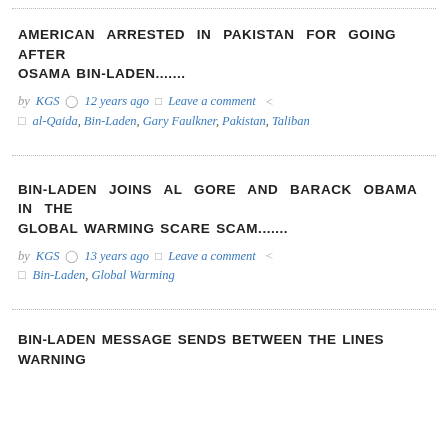AMERICAN ARRESTED IN PAKISTAN FOR GOING AFTER OSAMA BIN-LADEN.......
by KGS  12 years ago  Leave a comment
al-Qaida, Bin-Laden, Gary Faulkner, Pakistan, Taliban
BIN-LADEN JOINS AL GORE AND BARACK OBAMA IN THE GLOBAL WARMING SCARE SCAM.......
by KGS  13 years ago  Leave a comment
Bin-Laden, Global Warming
BIN-LADEN MESSAGE SENDS BETWEEN THE LINES WARNING